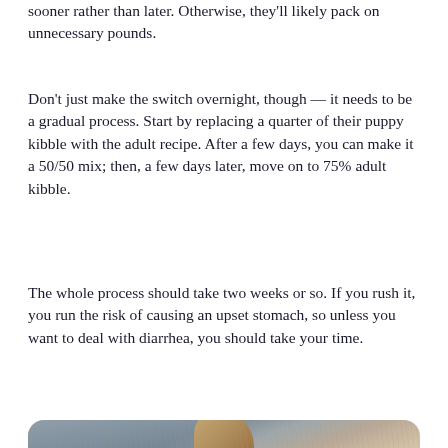sooner rather than later. Otherwise, they'll likely pack on unnecessary pounds.
Don't just make the switch overnight, though — it needs to be a gradual process. Start by replacing a quarter of their puppy kibble with the adult recipe. After a few days, you can make it a 50/50 mix; then, a few days later, move on to 75% adult kibble.
The whole process should take two weeks or so. If you rush it, you run the risk of causing an upset stomach, so unless you want to deal with diarrhea, you should take your time.
[Figure (photo): A Yorkshire Terrier dog with fluffy brown and tan fur, photographed close-up with a blurred grey background. The dog appears to be looking slightly to one side. Below the dog photo is a lighter grey/white fuzzy area.]